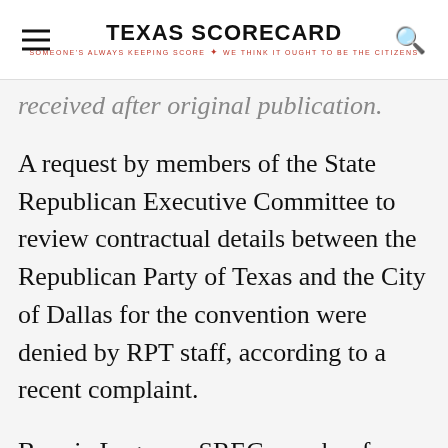TEXAS SCORECARD — SOMEONE'S ALWAYS KEEPING SCORE — WE THINK IT OUGHT TO BE THE CITIZENS
received after original publication.
A request by members of the State Republican Executive Committee to review contractual details between the Republican Party of Texas and the City of Dallas for the convention were denied by RPT staff, according to a recent complaint.
Bonnie Lugo, an SREC member from Houston, penned a letter to the RPT